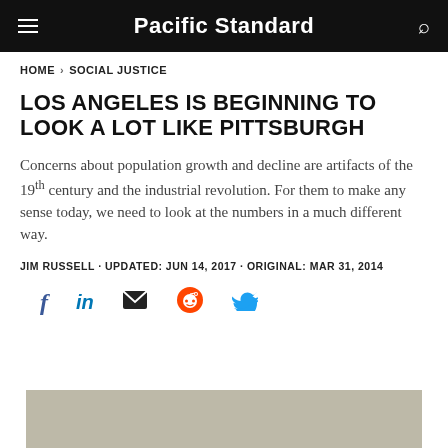Pacific Standard
HOME > SOCIAL JUSTICE
LOS ANGELES IS BEGINNING TO LOOK A LOT LIKE PITTSBURGH
Concerns about population growth and decline are artifacts of the 19th century and the industrial revolution. For them to make any sense today, we need to look at the numbers in a much different way.
JIM RUSSELL · UPDATED: JUN 14, 2017 · ORIGINAL: MAR 31, 2014
[Figure (other): Social share icons: Facebook, LinkedIn, Email, Reddit, Twitter]
[Figure (photo): Partial article image, tan/khaki colored background, cropped at bottom of page]